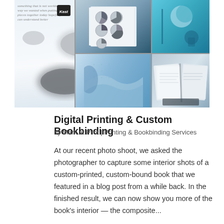[Figure (photo): A photo collage showing multiple interior shots of a custom-printed, custom-bound book. The collage includes images of pie charts on book pages, soft grey/white blurred pebble or stone shapes on a light background (center, spanning both rows), teal/blue book covers, blue wavy pages, and an open book with visible page spreads.]
Digital Printing & Custom Bookbinding
by Mark at Pilot | Printing & Bookbinding Services
At our recent photo shoot, we asked the photographer to capture some interior shots of a custom-printed, custom-bound book that we featured in a blog post from a while back. In the finished result, we can now show you more of the book’s interior — the composite...